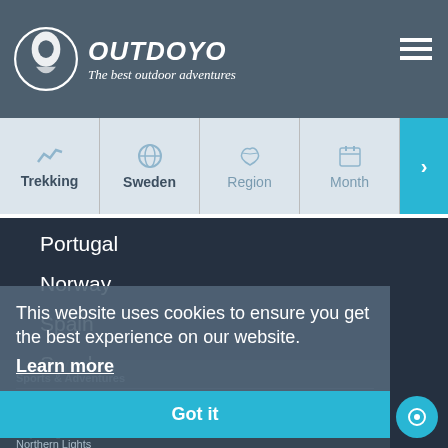OUTDOYO — The best outdoor adventures
Trekking
Sweden
Region
Month
Portugal
Norway
Spain
Sweden
Croatia
Sports & Adventures
Sports & Adventures
Hiking
Kayaking
Northern Lights
Trekking
Wildlife
This website uses cookies to ensure you get the best experience on our website.
Learn more
Got it